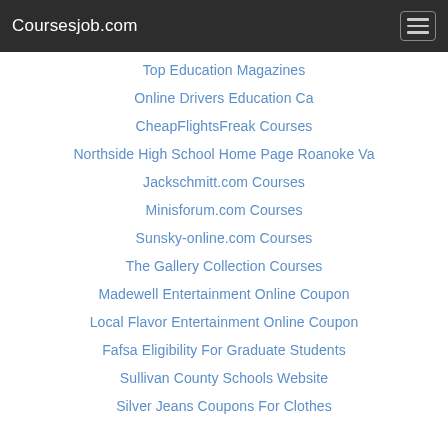Coursesjob.com
Top Education Magazines
Online Drivers Education Ca
CheapFlightsFreak Courses
Northside High School Home Page Roanoke Va
Jackschmitt.com Courses
Minisforum.com Courses
Sunsky-online.com Courses
The Gallery Collection Courses
Madewell Entertainment Online Coupon
Local Flavor Entertainment Online Coupon
Fafsa Eligibility For Graduate Students
Sullivan County Schools Website
Silver Jeans Coupons For Clothes